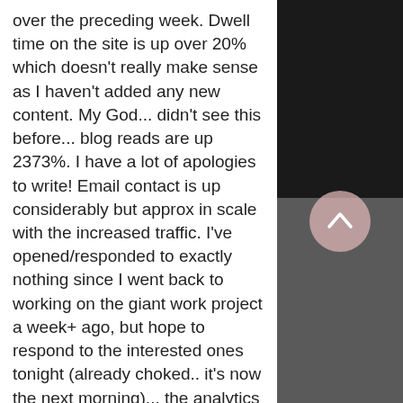over the preceding week. Dwell time on the site is up over 20% which doesn't really make sense as I haven't added any new content. My God... didn't see this before... blog reads are up 2373%. I have a lot of apologies to write! Email contact is up considerably but approx in scale with the increased traffic. I've opened/responded to exactly nothing since I went back to working on the giant work project a week+ ago, but hope to respond to the interested ones tonight (already choked.. it's now the next morning)... the analytics in conjunction with the nature of the questions people first ask does make it straightforward to understand who is interested and who is more likely just surfing.
[Figure (photo): Right side of page showing a dark photograph (top half very dark/black) and a dark grey area (bottom half), with a circular pinkish scroll-to-top button overlaid near the boundary.]